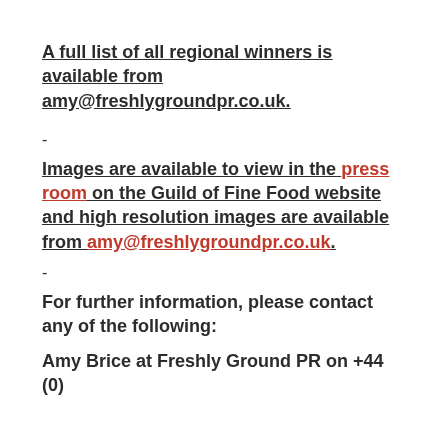A full list of all regional winners is available from amy@freshlygroundpr.co.uk.
-
Images are available to view in the press room on the Guild of Fine Food website and high resolution images are available from amy@freshlygroundpr.co.uk.
-
For further information, please contact any of the following:
Amy Brice at Freshly Ground PR on +44 (0)